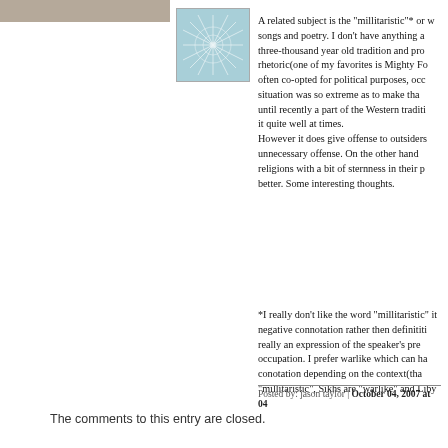[Figure (illustration): Avatar image with snowflake/crystal pattern on teal background]
A related subject is the "millitaristic"* or w... songs and poetry. I don't have anything a... three-thousand year old tradition and pro... rhetoric(one of my favorites is Mighty Fo... often co-opted for political purposes, occ... situation was so extreme as to make tha... until recently a part of the Western traditi... it quite well at times. However it does give offense to outsiders... unnecessary offense. On the other hand... religions with a bit of sternness in their p... better. Some interesting thoughts.
*I really don't like the word "millitaristic" it... negative connotation rather then definititi... really an expression of the speaker's pre... occupation. I prefer warlike which can ha... conotation depending on the context(tha... "millitaristic", Sikhs are "warlike" and Liby...
Posted by: jason taylor | October 04, 2007 at 04...
The comments to this entry are closed.